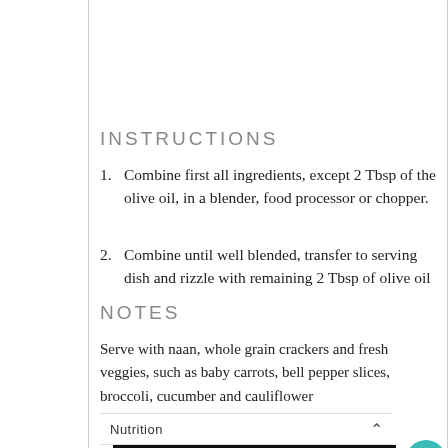INSTRUCTIONS
Combine first all ingredients, except 2 Tbsp of the olive oil, in a blender, food processor or chopper.
Combine until well blended, transfer to serving dish and rizzle with remaining 2 Tbsp of olive oil
NOTES
Serve with naan, whole grain crackers and fresh veggies, such as baby carrots, bell pepper slices, broccoli, cucumber and cauliflower
| Nutrition Facts |  |
| --- | --- |
| AMOUNT PER SERVING |  |
| CALORIES | 1358 |